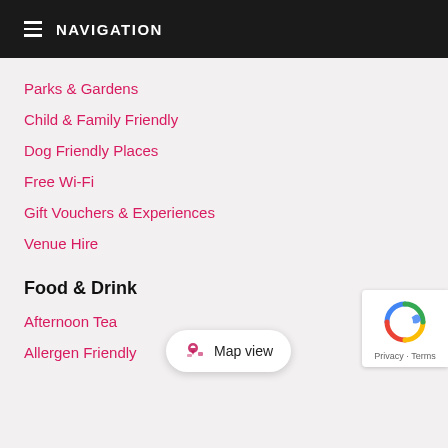NAVIGATION
Parks & Gardens
Child & Family Friendly
Dog Friendly Places
Free Wi-Fi
Gift Vouchers & Experiences
Venue Hire
Food & Drink
Afternoon Tea
Allergen Friendly
[Figure (screenshot): Map view button with pin icon]
[Figure (screenshot): reCAPTCHA logo with Privacy and Terms text]